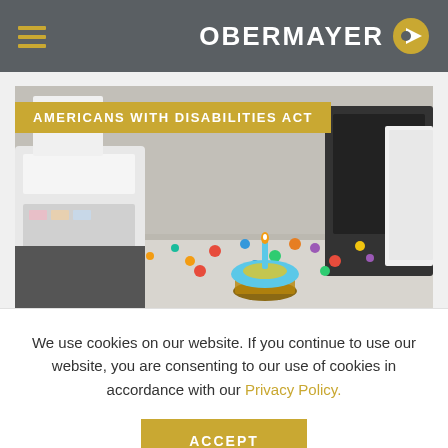OBERMAYER
[Figure (photo): Office desk scene with a birthday cupcake with blue icing and a candle, colorful confetti scattered on the desk surface, a calculator/cash register on the left, and a black monitor on the right. Gray cubicle wall fabric in the background. Gold banner overlay reading AMERICANS WITH DISABILITIES ACT.]
We use cookies on our website. If you continue to use our website, you are consenting to our use of cookies in accordance with our Privacy Policy.
ACCEPT